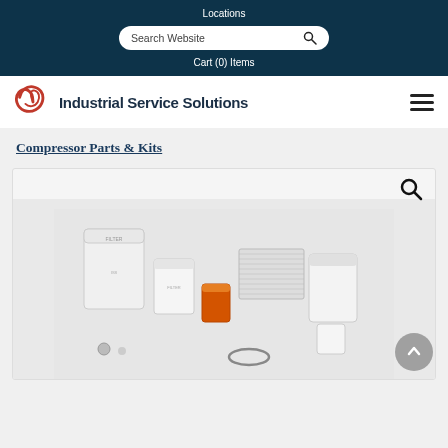Locations
Search Website
Cart (0) Items
[Figure (logo): Industrial Service Solutions logo with red spiral icon and dark blue text]
Compressor Parts & Kits
[Figure (photo): Collection of compressor parts and filter kits including cylindrical filters, flat gaskets, small fittings, and various white and orange-red filters arranged on a light background]